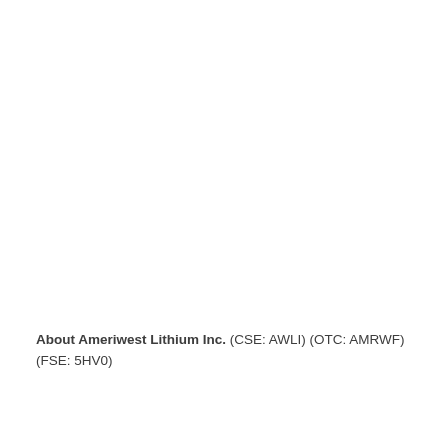About Ameriwest Lithium Inc. (CSE: AWLI) (OTC: AMRWF) (FSE: 5HV0)